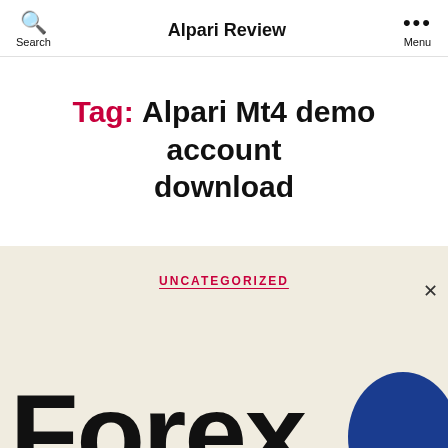Alpari Review
Tag: Alpari Mt4 demo account download
UNCATEGORIZED
[Figure (logo): Large bold 'Forex' text with a partial dark blue circle on the right, cropped, on a beige background]